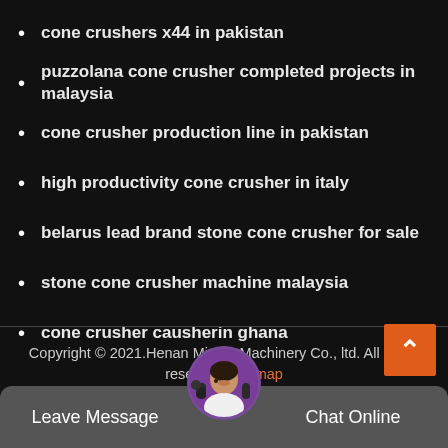cone crushers x44 in pakistan
puzzolana cone crusher completed projects in malaysia
cone crusher production line in pakistan
high productivity cone crusher in italy
belarus lead brand stone cone crusher for sale
stone cone crusher machine malaysia
cone crusher causherin ghana
Copyright © 2021.Henan Mining Machinery Co., ltd. All rights reserved. Sitemap
Leave Message   Chat Online